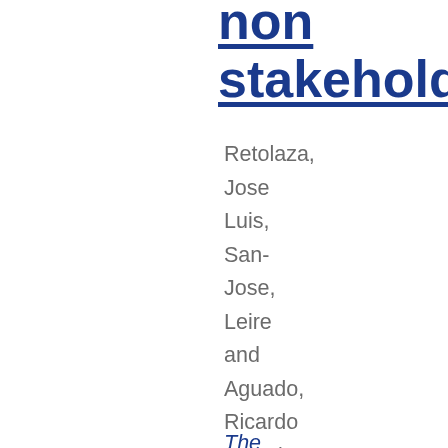non stakehold
Retolaza, Jose Luis, San-Jose, Leire and Aguado, Ricardo (2016)
The role of shapeholders as a link between a firm and